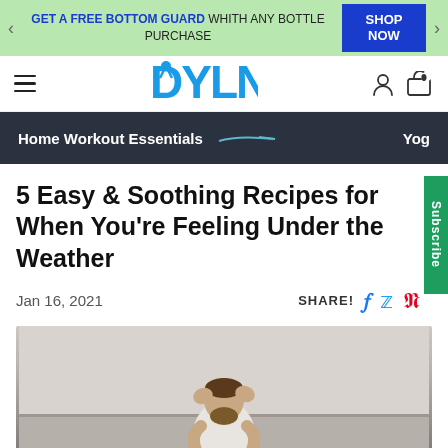GET A FREE BOTTOM GUARD WHITH ANY BOTTLE PURCHASE | SHOP NOW
DYLN — Home Workout Essentials | Yog
5 Easy & Soothing Recipes for When You're Feeling Under the Weather
Jan 16, 2021   SHARE!
[Figure (photo): Man sitting hunched over with hands on head, appearing unwell, in a light-colored room]